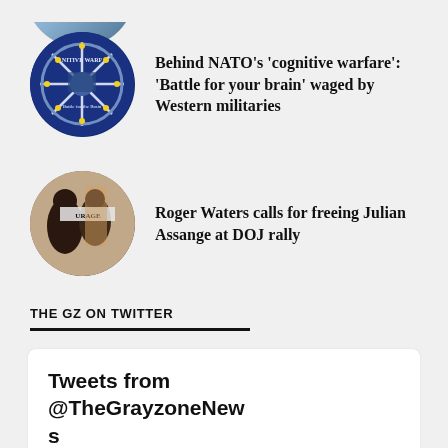[Figure (photo): Partially cropped circular thumbnail image at top of page, globe/world imagery]
[Figure (photo): Circular thumbnail image: NATO cognitive warfare graphic with blue NATO symbol and text 'NITIVE WARF, Battle for the Brain']
Behind NATO’s ‘cognitive warfare’: ‘Battle for your brain’ waged by Western militaries
[Figure (photo): Circular thumbnail image: Roger Waters at DOJ rally with 'COURAGE' banner visible]
Roger Waters calls for freeing Julian Assange at DOJ rally
THE GZ ON TWITTER
Tweets from @TheGrayzoneNew s